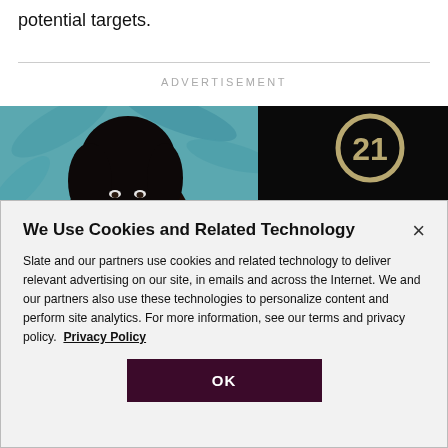potential targets.
[Figure (photo): Advertisement banner showing a woman and Century 21 real estate logo with text 'THE']
We Use Cookies and Related Technology
Slate and our partners use cookies and related technology to deliver relevant advertising on our site, in emails and across the Internet. We and our partners also use these technologies to personalize content and perform site analytics. For more information, see our terms and privacy policy.  Privacy Policy
OK